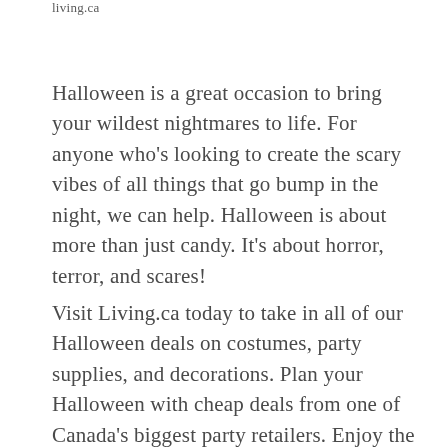living.ca
Halloween is a great occasion to bring your wildest nightmares to life. For anyone who's looking to create the scary vibes of all things that go bump in the night, we can help. Halloween is about more than just candy. It's about horror, terror, and scares!
Visit Living.ca today to take in all of our Halloween deals on costumes, party supplies, and decorations. Plan your Halloween with cheap deals from one of Canada's biggest party retailers. Enjoy the freakiest night of the year knowing you've maximized your Halloween party